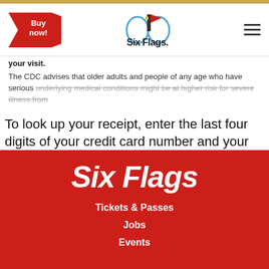Six Flags navigation bar with Buy now! button and hamburger menu
your visit.
The CDC advises that older adults and people of any age who have serious underlying medical conditions might be at higher risk for severe illness from
To look up your receipt, enter the last four digits of your credit card number and your 10-digit telephone number. Once your receipt is shown, you can click the link to reprint your Print-N-Go order.
[Figure (logo): Six Flags logo in footer red background]
Tickets & Passes
Jobs
Events